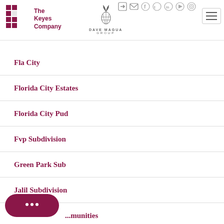[Figure (logo): The Keyes Company logo with red K graphic and text, alongside Dave Magua Group pineapple logo]
[Figure (other): Social media icons: login, email, Facebook, Twitter, LinkedIn, YouTube, Instagram]
[Figure (other): Hamburger menu button]
Fla City
Florida City Estates
Florida City Pud
Fvp Subdivision
Green Park Sub
Jalil Subdivision
...munities